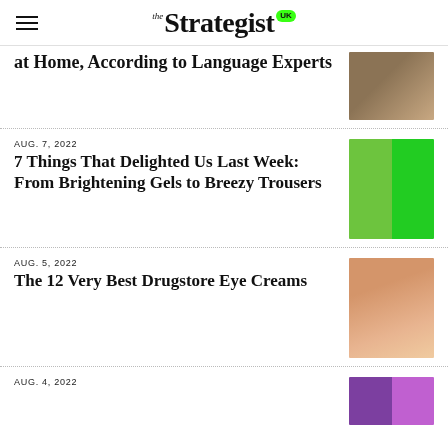the Strategist UK
at Home, According to Language Experts
AUG. 7, 2022
7 Things That Delighted Us Last Week: From Brightening Gels to Breezy Trousers
AUG. 5, 2022
The 12 Very Best Drugstore Eye Creams
AUG. 4, 2022